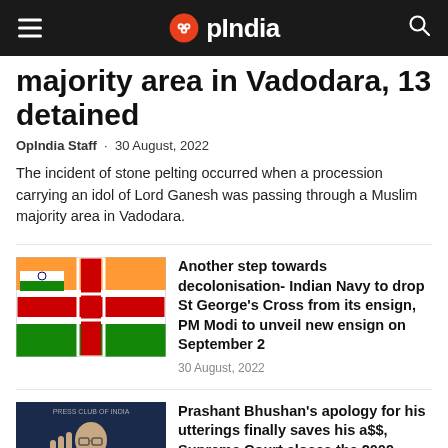OpIndia
majority area in Vadodara, 13 detained
OpIndia Staff · 30 August, 2022
The incident of stone pelting occurred when a procession carrying an idol of Lord Ganesh was passing through a Muslim majority area in Vadodara.
[Figure (photo): Indian Navy ensign with Indian flag and St George's Cross]
Another step towards decolonisation- Indian Navy to drop St George's Cross from its ensign, PM Modi to unveil new ensign on September 2
30 August, 2022
[Figure (photo): Photo of Prashant Bhushan speaking at a press conference]
Prashant Bhushan's apology for his utterings finally saves his a$$, Supreme Court closes the 2009 contempt case
30 August, 2022
[Figure (photo): Partial photo, bottom of page]
'We will rip your tongue out': Mamata